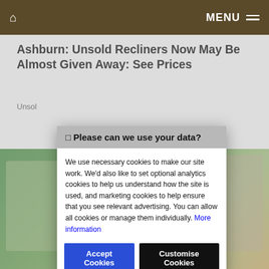MENU
Ashburn: Unsold Recliners Now May Be Almost Given Away: See Prices
Unsol
[Figure (photo): Background photo of people outdoors, partially obscured by cookie consent modal]
Please can we use your data?
We use necessary cookies to make our site work. We'd also like to set optional analytics cookies to help us understand how the site is used, and marketing cookies to help ensure that you see relevant advertising. You can allow all cookies or manage them individually. More information
Accept Cookies   Customise Cookies